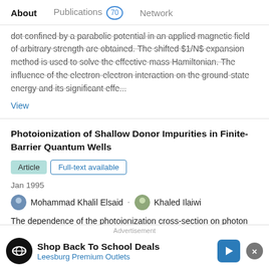About   Publications 70   Network
dot confined by a parabolic potential in an applied magnetic field of arbitrary strength are obtained. The shifted $1/N$ expansion method is used to solve the effective-mass Hamiltonian. The influence of the electron-electron interaction on the ground-state energy and its significant effe...
View
Photoionization of Shallow Donor Impurities in Finite-Barrier Quantum Wells
Article   Full-text available
Jan 1995
Mohammad Khalil Elsaid · Khaled Ilaiwi
The dependence of the photoionization cross-section on photon energy is calculated for shallow donors in finite-barrier GaAs/Ga1–xAlxAs quantum wells as well as the binding energy as a function of well width. The effect of a magnetic field is also
Advertisement
Shop Back To School Deals
Leesburg Premium Outlets